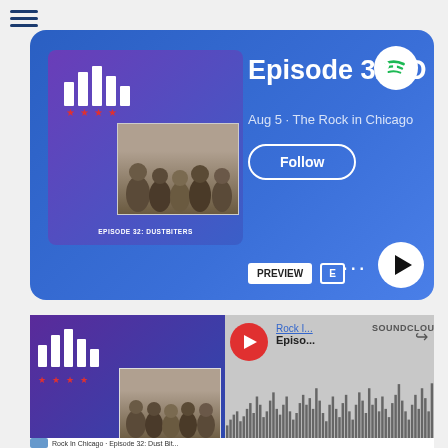[Figure (screenshot): Spotify podcast episode card for Episode 32: Dust Biters, Aug 5, The Rock in Chicago, with album art, Follow button, PREVIEW badge, E badge, dots menu, and play button on blue gradient background]
[Figure (screenshot): SoundCloud embed player for Rock I... Episo... with red play button, waveform visualization showing duration 1:07:34, and play count 38]